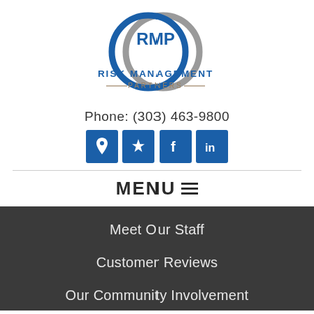[Figure (logo): RMP Risk Management Partners logo — blue and gray interlocking rings with RMP initials inside, blue bold text RISK MANAGEMENT PARTNERS below]
Phone: (303) 463-9800
[Figure (infographic): Four blue square social media icon buttons: location pin, Yelp star, Facebook f, LinkedIn in]
MENU ≡
Meet Our Staff
Customer Reviews
Our Community Involvement